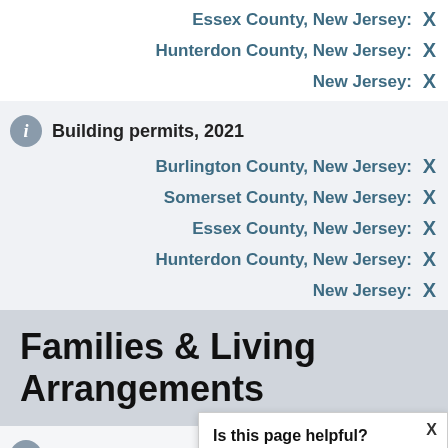Essex County, New Jersey: X
Hunterdon County, New Jersey: X
New Jersey: X
Building permits, 2021
Burlington County, New Jersey: X
Somerset County, New Jersey: X
Essex County, New Jersey: X
Hunterdon County, New Jersey: X
New Jersey: X
Families & Living Arrangements
Households, 2016-2020
Burlington County, New Jersey: X
Somerset County, New Jersey: X
[Figure (screenshot): Popup dialog asking 'Is this page helpful?' with Yes and No buttons with thumbs up/down icons, and an X close button]